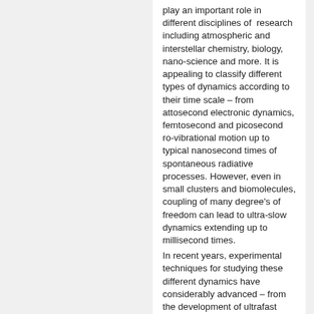play an important role in different disciplines of research including atmospheric and interstellar chemistry, biology, nano-science and more. It is appealing to classify different types of dynamics according to their time scale – from attosecond electronic dynamics, femtosecond and picosecond ro-vibrational motion up to typical nanosecond times of spontaneous radiative processes. However, even in small clusters and biomolecules, coupling of many degree's of freedom can lead to ultra-slow dynamics extending up to millisecond times.
In recent years, experimental techniques for studying these different dynamics have considerably advanced – from the development of ultrafast light sources, including high-order harmonic generation and free electron laser X-ray facilities, as well as highly controlled ion traps and ion storage rings that allow following a slow evolving time evolution of isolated molecular and cluster ions. On the theoretical side, quantum mechanical calculations provide insight regarding short time scales, while statistical models can describe long time dynamics on the ensemble level.
These communities have developed in parallel and often with little interaction with each-other. The goal of this